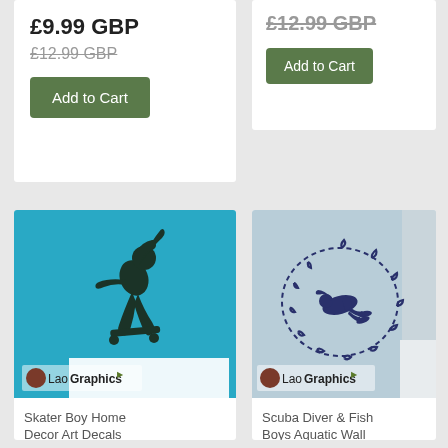£9.99 GBP
£12.99 GBP (strikethrough)
Add to Cart
£12.99 GBP (strikethrough)
Add to Cart
[Figure (photo): Skater Boy wall decal on teal/cyan background with LaoGraphics watermark]
Skater Boy Home Decor Art Decals
[Figure (photo): Scuba Diver and Fish Boys Aquatic wall decal on light blue background with LaoGraphics watermark]
Scuba Diver & Fish Boys Aquatic Wall